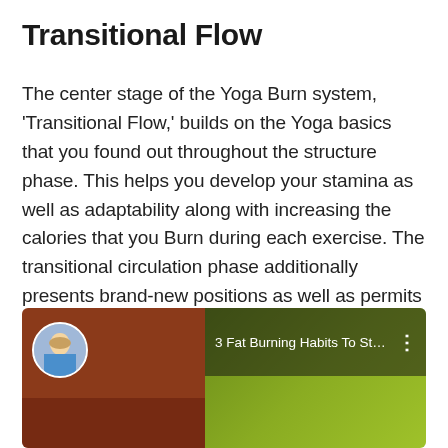Transitional Flow
The center stage of the Yoga Burn system, 'Transitional Flow,' builds on the Yoga basics that you found out throughout the structure phase. This helps you develop your stamina as well as adaptability along with increasing the calories that you Burn during each exercise. The transitional circulation phase additionally presents brand-new positions as well as permits you to see changes in your muscle tone by the end of the phase.
[Figure (screenshot): YouTube-style video thumbnail showing '3 Fat Burning Habits To Start Y...' with a circular avatar of a woman in fitness attire on the left brown panel and a green-yellow gradient right panel.]